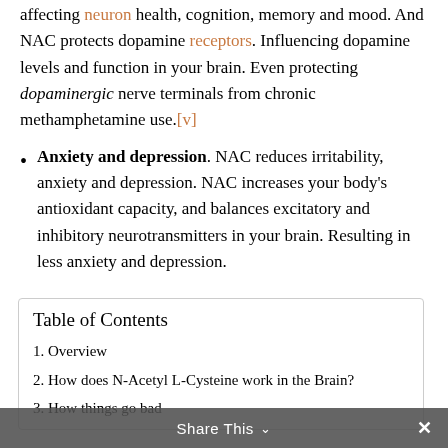affecting neuron health, cognition, memory and mood. And NAC protects dopamine receptors. Influencing dopamine levels and function in your brain. Even protecting dopaminergic nerve terminals from chronic methamphetamine use.[v]
Anxiety and depression. NAC reduces irritability, anxiety and depression. NAC increases your body's antioxidant capacity, and balances excitatory and inhibitory neurotransmitters in your brain. Resulting in less anxiety and depression.
| Table of Contents |
| --- |
| 1. Overview |
| 2. How does N-Acetyl L-Cysteine work in the Brain? |
| 3. How things go bad |
Share This ∨  ✕